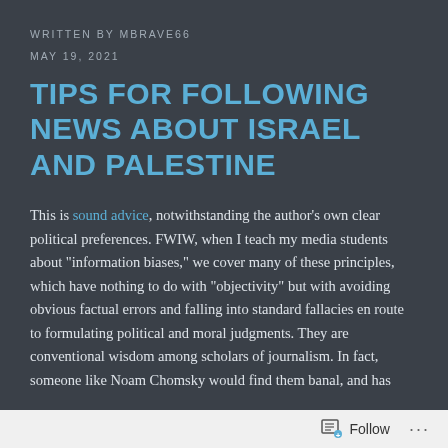WRITTEN BY MBRAVE66
MAY 19, 2021
TIPS FOR FOLLOWING NEWS ABOUT ISRAEL AND PALESTINE
This is sound advice, notwithstanding the author’s own clear political preferences. FWIW, when I teach my media students about “information biases,” we cover many of these principles, which have nothing to do with “objectivity” but with avoiding obvious factual errors and falling into standard fallacies en route to formulating political and moral judgments. They are conventional wisdom among scholars of journalism. In fact, someone like Noam Chomsky would find them banal, and has
Follow ...